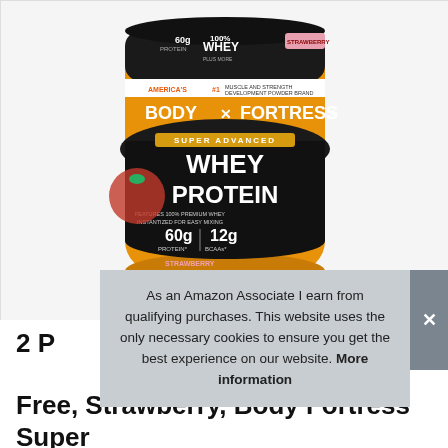[Figure (photo): Body Fortress Super Advanced Whey Protein supplement container, Strawberry flavor. The container is gold/orange colored with black label. Text reads: 60g Protein, 100% WHEY, Strawberry, America's #1 Muscle and Strength Development Powder Brand, BODY FORTRESS, SUPER ADVANCED WHEY PROTEIN, FEATURES 100% PREMIUM WHEY INSTANTIZED FOR EASY MIXING, 60g PROTEIN*, 12g BCAAs*. Product image shows a strawberry on the front.]
As an Amazon Associate I earn from qualifying purchases. This website uses the only necessary cookies to ensure you get the best experience on our website. More information
2 Pound, Strawberry, Body Fortress Super